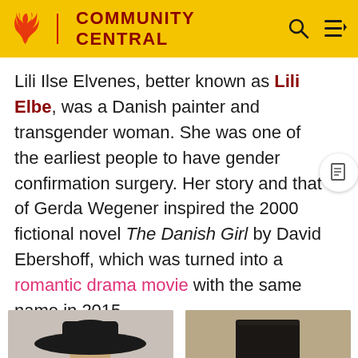COMMUNITY CENTRAL
Lili Ilse Elvenes, better known as Lili Elbe, was a Danish painter and transgender woman. She was one of the earliest people to have gender confirmation surgery. Her story and that of Gerda Wegener inspired the 2000 fictional novel The Danish Girl by David Ebershoff, which was turned into a romantic drama movie with the same name in 2015.
[Figure (photo): Black and white photo of a woman wearing a large wide-brimmed dark hat and dark jacket, smiling]
[Figure (photo): Sepia-toned portrait photo of a person wearing a tall top hat and suit]